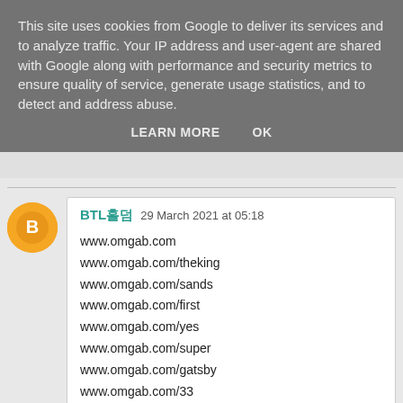This site uses cookies from Google to deliver its services and to analyze traffic. Your IP address and user-agent are shared with Google along with performance and security metrics to ensure quality of service, generate usage statistics, and to detect and address abuse.
LEARN MORE   OK
BTL홀덤 29 March 2021 at 05:18
www.omgab.com
www.omgab.com/theking
www.omgab.com/sands
www.omgab.com/first
www.omgab.com/yes
www.omgab.com/super
www.omgab.com/gatsby
www.omgab.com/33
www.omgab.com/world
www.omgab.com/merit
Reply